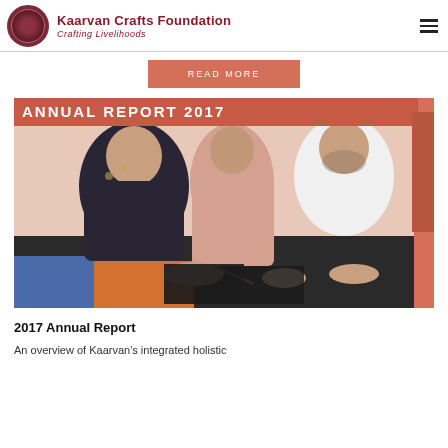Kaarvan Crafts Foundation — Crafting Livelihoods
READ MORE
[Figure (photo): Annual Report 2017 cover image showing three people — two women in headscarves and a man — leaning over a table working on craft materials including colored fabric pieces. Text overlay reads 'ANNUAL REPORT 2017'.]
2017 Annual Report
An overview of Kaarvan's integrated holistic